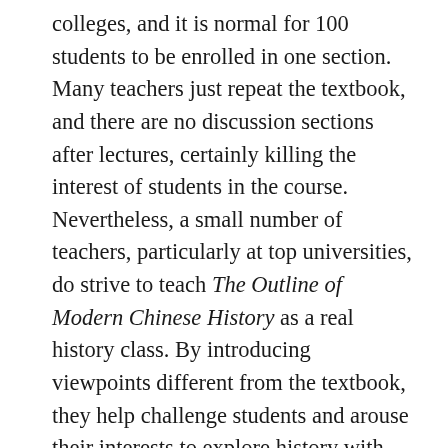colleges, and it is normal for 100 students to be enrolled in one section. Many teachers just repeat the textbook, and there are no discussion sections after lectures, certainly killing the interest of students in the course. Nevertheless, a small number of teachers, particularly at top universities, do strive to teach The Outline of Modern Chinese History as a real history class. By introducing viewpoints different from the textbook, they help challenge students and arouse their interests to explore history with new perspectives. Even so, few teachers dare challenge the official account directly, especially when it is concerned with politically sensitive figures and events, such as Mao or the